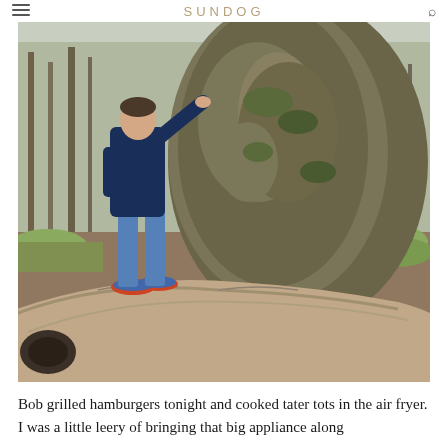SUNDOG
[Figure (photo): A person wearing a navy blue fleece jacket and blue jeans stands on top of a large fallen log, reaching up to touch the massive mossy base of a giant tree. The setting is a woodland area in early spring with bare trees visible in the background and some green grass on the ground.]
Bob grilled hamburgers tonight and cooked tater tots in the air fryer. I was a little leery of bringing that big appliance along